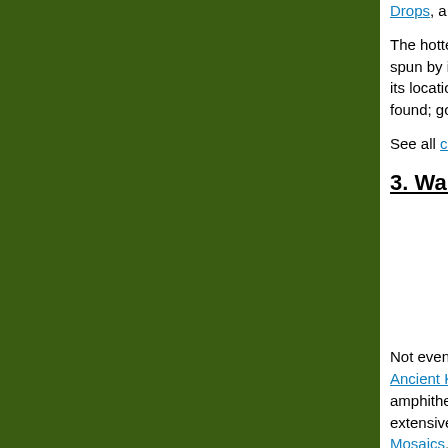[Figure (photo): Large green/dark green image filling the left portion of the page]
Drops, a laid back...
The hottest seaside... spun by internation... its location at Agios... found; go to www.g...
See all clubs, and ...
3. Wander arch...
Not even the most... Ancient Kourin is o... amphitheatre perch... extensive renovatio... Mosaics, discovere... mosaics discovere... spend half a day e... forum and agora, a...
See all museums a...
4. Gaze acros...